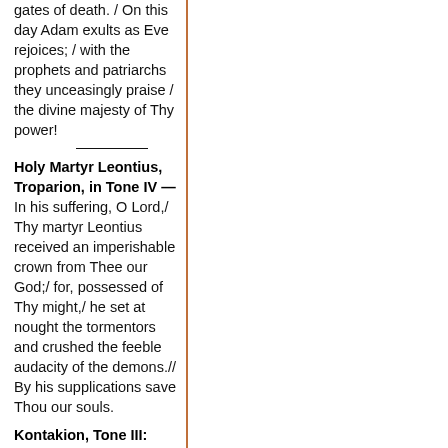gates of death. / On this day Adam exults as Eve rejoices; / with the prophets and patriarchs they unceasingly praise / the divine majesty of Thy power!
Holy Martyr Leontius, Troparion, in Tone IV —
In his suffering, O Lord,/ Thy martyr Leontius received an imperishable crown from Thee our God;/ for, possessed of Thy might,/ he set at nought the tormentors and crushed the feeble audacity of the demons.// By his supplications save Thou our souls.
Kontakion, Tone III: "Today the Virgin..." —
Thou didst confound the wicked plots of the tyrants,/ didst denounce the ungodly religion of the Greeks,/ and didst shine forth the knowledge of God upon all men/ in thy doctrines of piety, O divinely wise